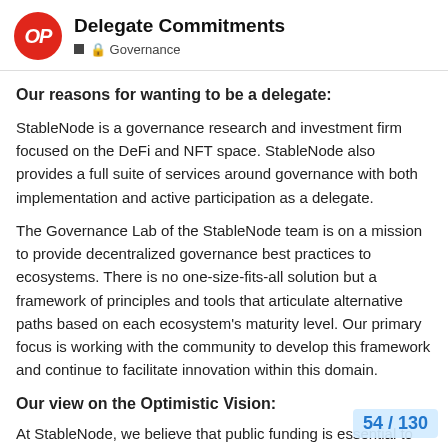Delegate Commitments
■ 🔒 Governance
Our reasons for wanting to be a delegate:
StableNode is a governance research and investment firm focused on the DeFi and NFT space. StableNode also provides a full suite of services around governance with both implementation and active participation as a delegate.
The Governance Lab of the StableNode team is on a mission to provide decentralized governance best practices to ecosystems. There is no one-size-fits-all solution but a framework of principles and tools that articulate alternative paths based on each ecosystem's maturity level. Our primary focus is working with the community to develop this framework and continue to facilitate innovation within this domain.
Our view on the Optimistic Vision:
At StableNode, we believe that public funding is essential to developing a non-financial-driven web3. W focus should be on encouraging developer
54 / 130